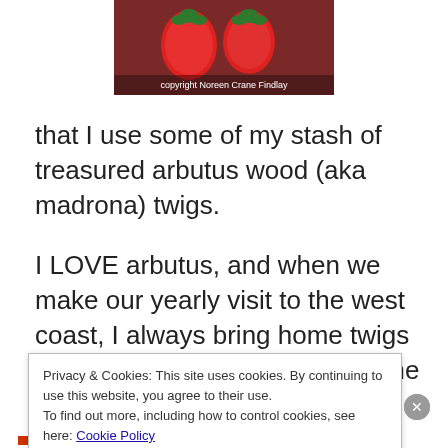[Figure (photo): Photo of red strawberry-shaped objects on a patterned rug/carpet background, with copyright watermark text reading 'copyright Noreen Crane Findlay']
that I use some of my stash of treasured arbutus wood (aka madrona) twigs.
I LOVE arbutus, and when we make our yearly visit to the west coast, I always bring home twigs that my sister in law saves for me when she prunes their arbutus tree. (Arbutus
Privacy & Cookies: This site uses cookies. By continuing to use this website, you agree to their use.
To find out more, including how to control cookies, see here: Cookie Policy
Close and accept